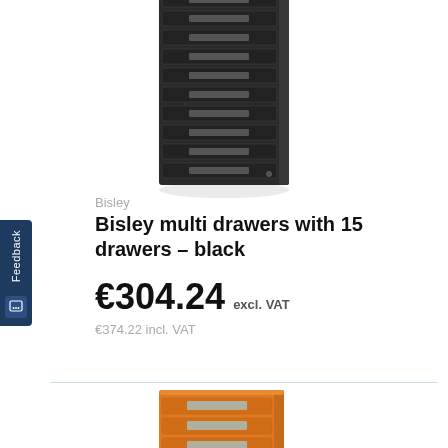[Figure (photo): Black Bisley multi-drawer filing cabinet with 15 drawers, partially cropped at top]
Bisley
Bisley multi drawers with 15 drawers – black
€304.24 excl. VAT
€374.22 incl. VAT
[Figure (photo): Orange Bisley multi-drawer filing cabinet, partially visible at bottom of page]